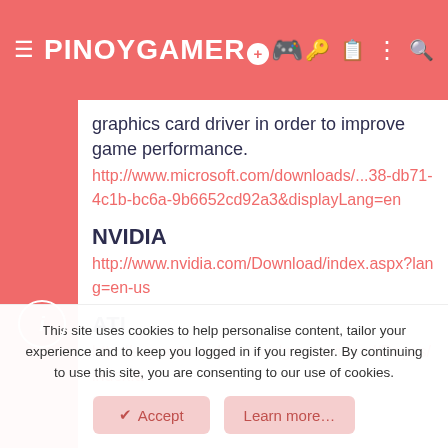PINOYGAMER
graphics card driver in order to improve game performance.
http://www.microsoft.com/downloads/...38-db71-4c1b-bc6a-9b6652cd92a3&displayLang=en
NVIDIA
http://www.nvidia.com/Download/index.aspx?lang=en-us
ATI
http://support.amd.com/us/gpudownload/Pages/index.aspx
This site uses cookies to help personalise content, tailor your experience and to keep you logged in if you register. By continuing to use this site, you are consenting to our use of cookies.